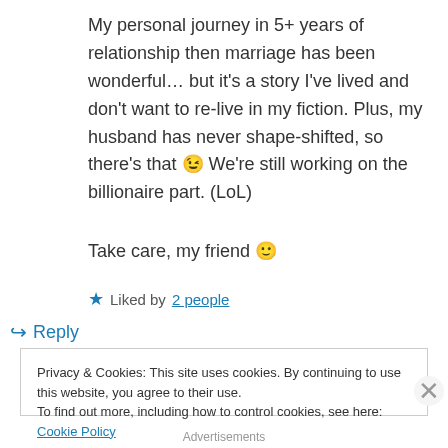My personal journey in 5+ years of relationship then marriage has been wonderful… but it's a story I've lived and don't want to re-live in my fiction. Plus, my husband has never shape-shifted, so there's that 😉 We're still working on the billionaire part. (LoL)
Take care, my friend 🙂
★ Liked by 2 people
↪ Reply
Privacy & Cookies: This site uses cookies. By continuing to use this website, you agree to their use.
To find out more, including how to control cookies, see here: Cookie Policy
Close and accept
Advertisements